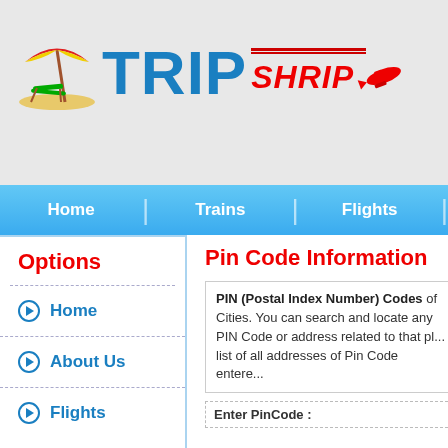[Figure (logo): TripShrip travel website logo with beach umbrella icon on left, TRIP in large blue text, SHRIP in red italic text with red underline, and a red airplane icon on the right]
Home | Trains | Flights |
Options
Home
About Us
Flights
Pin Code Information
PIN (Postal Index Number) Codes of Cities. You can search and locate any PIN Code or address related to that place, list of all addresses of Pin Code entered
Enter PinCode :